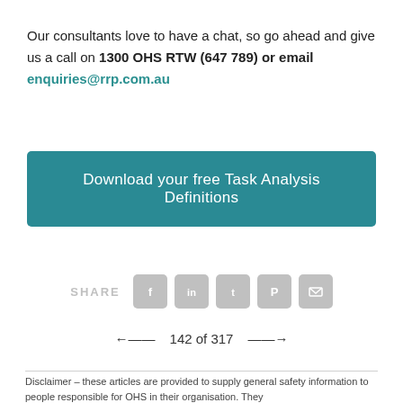Our consultants love to have a chat, so go ahead and give us a call on 1300 OHS RTW (647 789) or email enquiries@rrp.com.au
Download your free Task Analysis Definitions
SHARE
[Figure (infographic): Social share icons: Facebook, LinkedIn, Twitter, Pinterest, Email]
142 of 317
Disclaimer – these articles are provided to supply general safety information to people responsible for OHS in their organisation. They